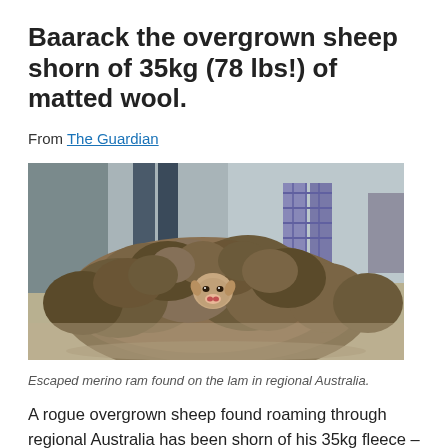Baarack the overgrown sheep shorn of 35kg (78 lbs!) of matted wool.
From The Guardian
[Figure (photo): Photo of Baarack, an extremely overgrown merino ram, covered in a massive matted fleece, sitting on a floor. Two people's legs visible in the background.]
Escaped merino ram found on the lam in regional Australia.
A rogue overgrown sheep found roaming through regional Australia has been shorn of his 35kg fleece – a weight even greater than that of the famous New Zealand sheep Shrek,